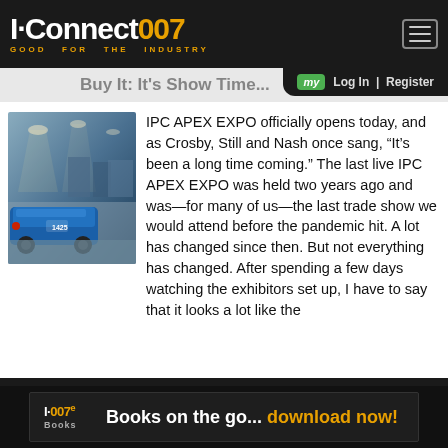I-Connect007 — GOOD FOR THE INDUSTRY
Buy It: It's Show Time...
[Figure (photo): Indoor photo of a trade show floor with a blue vehicle/cart in the foreground and exhibition booths and lighting visible in the background]
IPC APEX EXPO officially opens today, and as Crosby, Still and Nash once sang, “It’s been a long time coming.” The last live IPC APEX EXPO was held two years ago and was—for many of us—the last trade show we would attend before the pandemic hit. A lot has changed since then. But not everything has changed. After spending a few days watching the exhibitors set up, I have to say that it looks a lot like the
I-007e Books   Books on the go... download now!